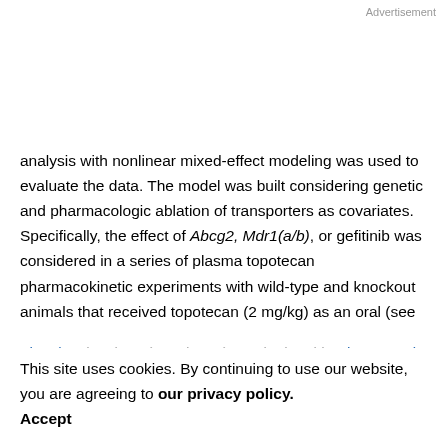Advertisement
analysis with nonlinear mixed-effect modeling was used to evaluate the data. The model was built considering genetic and pharmacologic ablation of transporters as covariates. Specifically, the effect of Abcg2, Mdr1(a/b), or gefitinib was considered in a series of plasma topotecan pharmacokinetic experiments with wild-type and knockout animals that received topotecan (2 mg/kg) as an oral (see Fig. 2) or i.v. dose (not shown). As depicted in Fig. 2A and B, topotecan plasma concentrations were higher in Abcg2−/− and Mdr1(a/b)−/− mice, respectively, compared with strain-matched wild-type mice. Interestingly,
This site uses cookies. By continuing to use our website, you are agreeing to our privacy policy. Accept